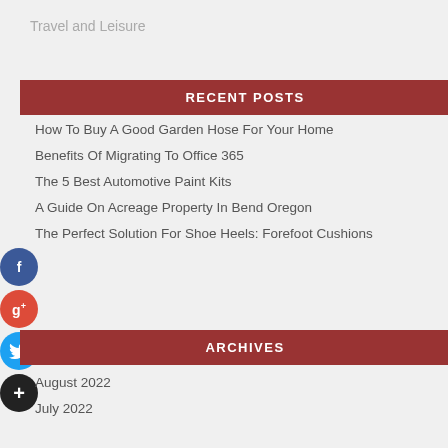Travel and Leisure
RECENT POSTS
How To Buy A Good Garden Hose For Your Home
Benefits Of Migrating To Office 365
The 5 Best Automotive Paint Kits
A Guide On Acreage Property In Bend Oregon
The Perfect Solution For Shoe Heels: Forefoot Cushions
ARCHIVES
August 2022
July 2022